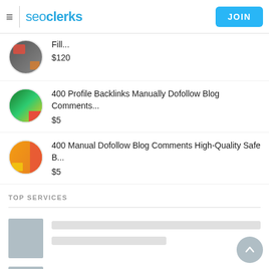seoclerks | JOIN
Fill...
$120
400 Profile Backlinks Manually Dofollow Blog Comments...
$5
400 Manual Dofollow Blog Comments High-Quality Safe B...
$5
TOP SERVICES
[Figure (other): Loading skeleton placeholders for top services listing items]
[Figure (other): Scroll-to-top button (circle with upward arrow)]